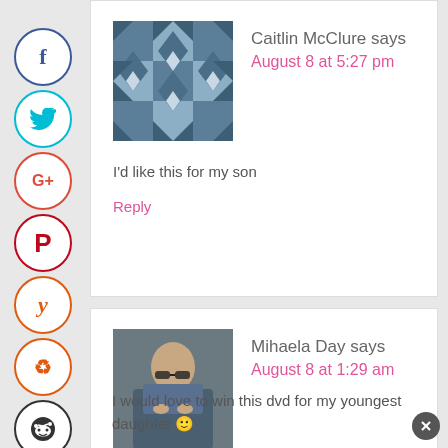[Figure (other): Social media share icons sidebar: Facebook (f), Twitter (bird), Google+, Pinterest (P), Yummly (y), StumbleUpon, Reddit]
Caitlin McClure says
August 8 at 5:27 pm
I'd like this for my son
Reply
Mihaela Day says
August 8 at 1:29 am
I would love to win this dvd for my youngest daughter 🙂